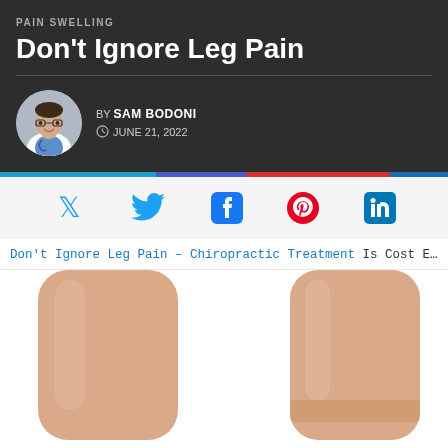PAIN SWELLING
Don't Ignore Leg Pain
BY SAM BODONI
JUNE 21, 2022
[Figure (other): Social media share icons: Twitter, Facebook, Pinterest, LinkedIn]
Don't Ignore Leg Pain – Chiropractic Treatment Is Cost Efficient
[Figure (photo): Close-up photo of two human legs/ankles against a white background, showing bare skin]